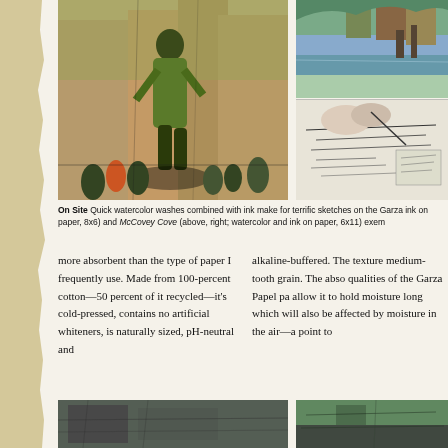[Figure (illustration): Watercolor and ink sketch of a worker figure in the foreground with crowd and buildings in background, Garza scene]
[Figure (illustration): Two watercolor and ink sketches on right: top shows landscape with water and structures, bottom shows architectural/boat sketches at McCovey Cove]
On Site  Quick watercolor washes combined with ink make for terrific sketches on the Garza ink on paper, 8x6) and McCovey Cove (above, right; watercolor and ink on paper, 6x11) exem
more absorbent than the type of paper I frequently use. Made from 100-percent cotton—50 percent of it recycled—it's cold-pressed, contains no artificial whiteners, is naturally sized, pH-neutral and
alkaline-buffered. The texture medium-tooth grain. The abso qualities of the Garza Papel pa allow it to hold moisture long which will also be affected by moisture in the air—a point to
[Figure (illustration): Bottom left: dark urban sketch scene]
[Figure (illustration): Bottom right: green and dark architectural sketch]